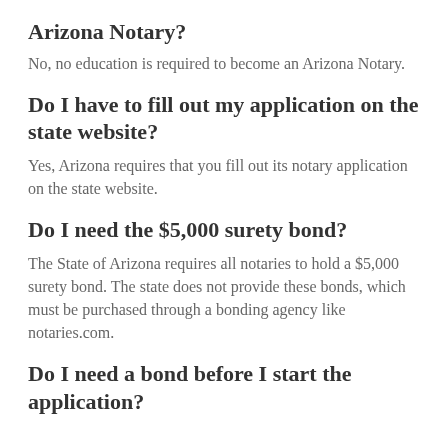Arizona Notary?
No, no education is required to become an Arizona Notary.
Do I have to fill out my application on the state website?
Yes, Arizona requires that you fill out its notary application on the state website.
Do I need the $5,000 surety bond?
The State of Arizona requires all notaries to hold a $5,000 surety bond. The state does not provide these bonds, which must be purchased through a bonding agency like notaries.com.
Do I need a bond before I start the application?